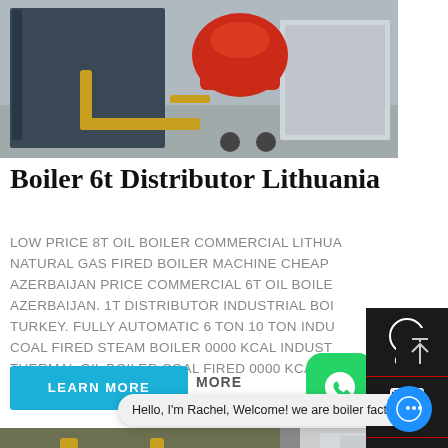[Figure (photo): Industrial boiler equipment in a warehouse setting, with a red burner unit on top, yellow pipes, and a dark metal body.]
Boiler 6t Distributor Lithuania
LOW PRICE 8T OIL BOILER COMMERCIAL LITHUA... NATURAL GAS FIRED BOILER MACHINE CHEAP AZERBAIJAN PRICE COMMERCIAL 6T OIL BOILE AZERBAIJAN. 1T DISTRIBUTOR INDUSTRIAL BOI TURKEY. FULLY AUTOMATIC 6 TON 10 TON IND COAL FIRED STEAM BOILER 0000 KCAL INDUST THERMAL OIL BOILER COAL FIRED 0000 KCAL .
LEARN MORE
MORE
[Figure (photo): Interior of a boiler room with yellow pipes and industrial equipment.]
Hello, I'm Rachel, Welcome! we are boiler factory!